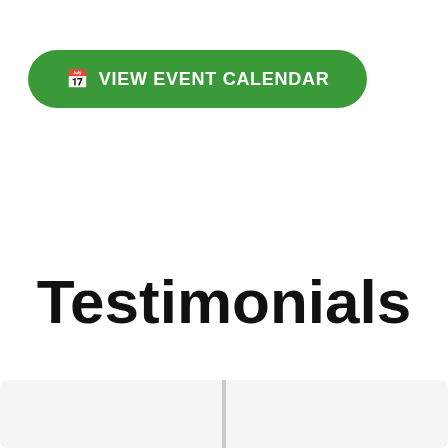[Figure (other): Green rounded pill button with calendar icon and text 'VIEW EVENT CALENDAR' in white uppercase bold letters]
Testimonials
[Figure (other): Two light grey card panels side by side separated by a thin vertical divider, partially visible at the bottom of the page]